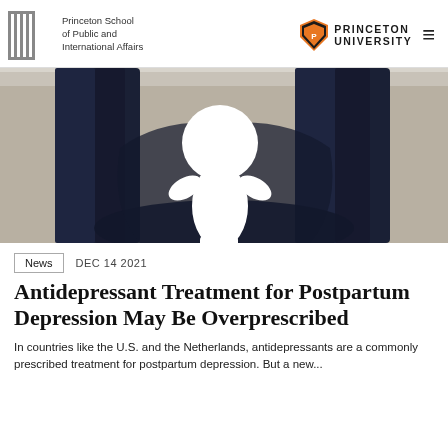Princeton School of Public and International Affairs | PRINCETON UNIVERSITY
[Figure (photo): Overhead view of two adults' legs in dark jeans standing on a concrete surface, with a white silhouette cutout of a child/baby between them, casting a dark shadow.]
News   DEC 14 2021
Antidepressant Treatment for Postpartum Depression May Be Overprescribed
In countries like the U.S. and the Netherlands, antidepressants are a commonly prescribed treatment for postpartum depression. But a new...